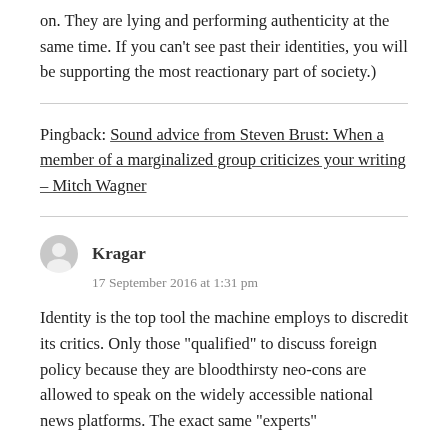on. They are lying and performing authenticity at the same time. If you can’t see past their identities, you will be supporting the most reactionary part of society.)
Pingback: Sound advice from Steven Brust: When a member of a marginalized group criticizes your writing – Mitch Wagner
Kragar
17 September 2016 at 1:31 pm
Identity is the top tool the machine employs to discredit its critics. Only those “qualified” to discuss foreign policy because they are bloodthirsty neo-cons are allowed to speak on the widely accessible national news platforms. The exact same “experts”